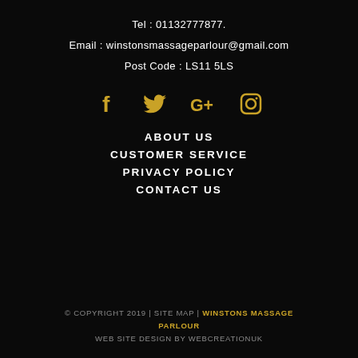Tel : 01132777877.
Email : winstonsmassageparlour@gmail.com
Post Code : LS11 5LS
[Figure (infographic): Social media icons: Facebook, Twitter, Google+, Instagram in gold color]
ABOUT US
CUSTOMER SERVICE
PRIVACY POLICY
CONTACT US
© COPYRIGHT 2019 | SITE MAP | WINSTONS MASSAGE PARLOUR WEB SITE DESIGN BY WEBCREATIONUK